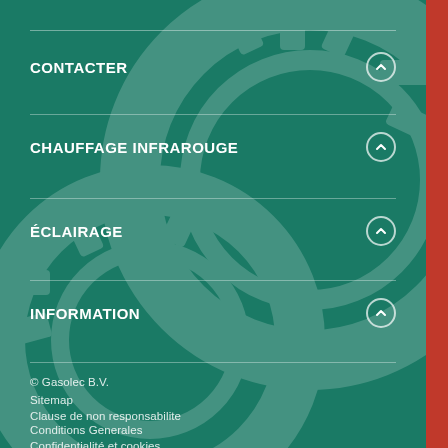CONTACTER
CHAUFFAGE INFRAROUGE
ÉCLAIRAGE
INFORMATION
© Gasolec B.V.
Sitemap
Clause de non responsabilite
Conditions Generales
Confidentialité et cookies
Designpro.nl & Z-IM